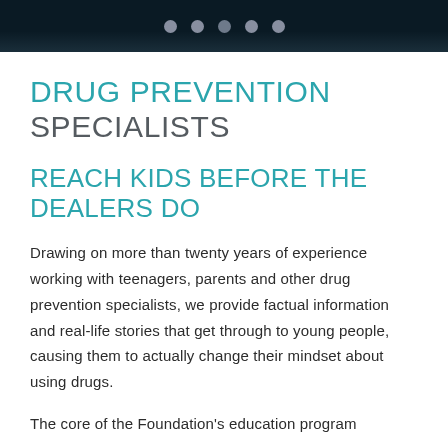Navigation dots (pagination indicator)
DRUG PREVENTION SPECIALISTS
REACH KIDS BEFORE THE DEALERS DO
Drawing on more than twenty years of experience working with teenagers, parents and other drug prevention specialists, we provide factual information and real-life stories that get through to young people, causing them to actually change their mindset about using drugs.
The core of the Foundation's education program